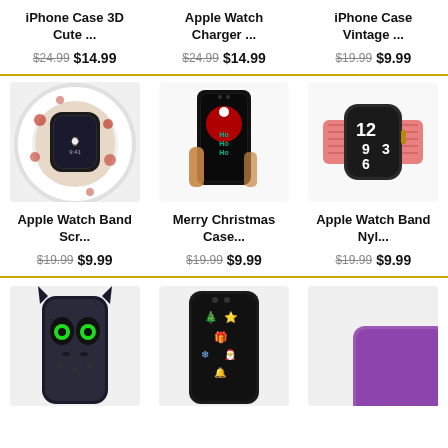iPhone Case 3D Cute ...
$24.99 $14.99
Apple Watch Charger ...
$24.99 $14.99
iPhone Case Vintage ...
$19.99 $9.99
[Figure (photo): Apple Watch with floral scrunchie band]
[Figure (photo): Hand holding iPhone case with Ho Ho Ho Santa Christmas design]
[Figure (photo): Apple Watch with pink braided nylon band]
Apple Watch Band Scr...
$19.99 $9.99
Merry Christmas Case...
$19.99 $9.99
Apple Watch Band Nyl...
$19.99 $9.99
[Figure (photo): Dark dragon/monster 3D iPhone case (Toothless style)]
[Figure (photo): iPhone case with Christmas pattern]
[Figure (photo): Purple phone case partially visible]